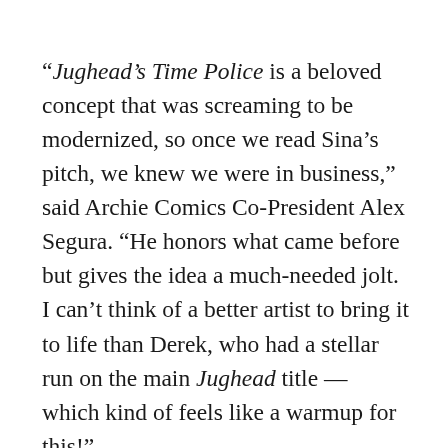“Jughead’s Time Police is a beloved concept that was screaming to be modernized, so once we read Sina’s pitch, we knew we were in business,” said Archie Comics Co-President Alex Segura. “He honors what came before but gives the idea a much-needed jolt. I can’t think of a better artist to bring it to life than Derek, who had a stellar run on the main Jughead title — which kind of feels like a warmup for this!”